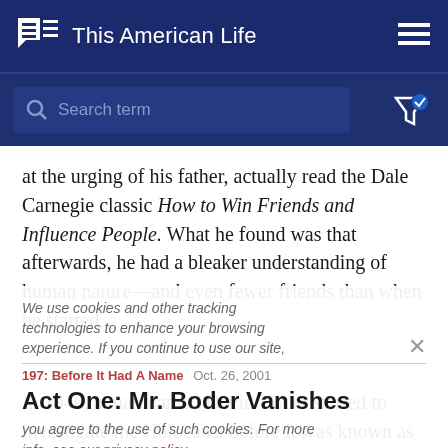This American Life
at the urging of his father, actually read the Dale Carnegie classic How to Win Friends and Influence People. What he found was that afterwards, he had a bleaker understanding of human nature—and even fewer friends than when he started.
We use cookies and other tracking technologies to enhance your browsing experience. If you continue to use our site, you agree to the use of such cookies. For more info, see our privacy policy.
197: Before It Had A Name  Oct. 26, 2001
Act One: Mr. Boder Vanishes
In 1946, a man named David Boder started to investigate the Holocaust before it was known as the Holocaust. He